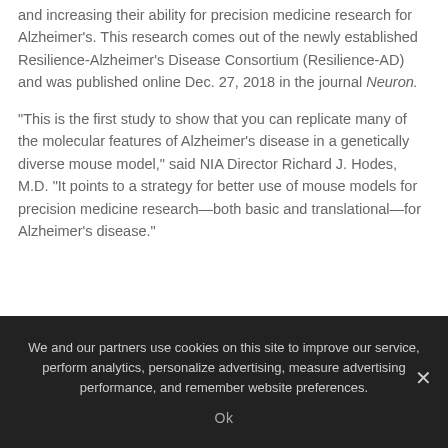and increasing their ability for precision medicine research for Alzheimer's. This research comes out of the newly established Resilience-Alzheimer's Disease Consortium (Resilience-AD) and was published online Dec. 27, 2018 in the journal Neuron.
“This is the first study to show that you can replicate many of the molecular features of Alzheimer’s disease in a genetically diverse mouse model,” said NIA Director Richard J. Hodes, M.D. “It points to a strategy for better use of mouse models for precision medicine research—both basic and translational—for Alzheimer’s disease.”
We and our partners use cookies on this site to improve our service, perform analytics, personalize advertising, measure advertising performance, and remember website preferences. Ok